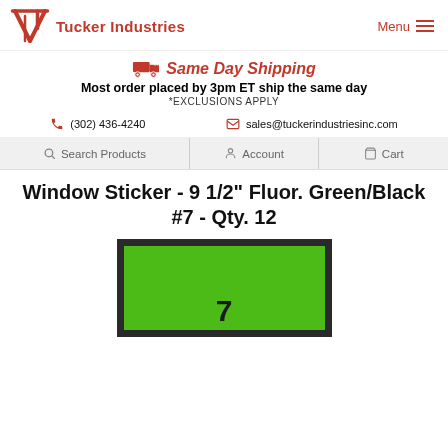Tucker Industries | Menu
Same Day Shipping
Most order placed by 3pm ET ship the same day
*EXCLUSIONS APPLY
(302) 436-4240 | sales@tuckerindustriesinc.com
Search Products | Account | Cart
Window Sticker - 9 1/2" Fluor. Green/Black #7 - Qty. 12
[Figure (photo): Green fluorescent window sticker with black border and black number on it]